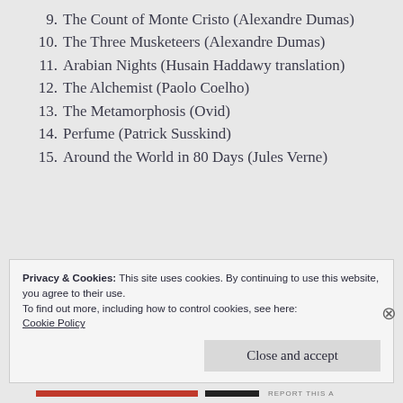9. The Count of Monte Cristo (Alexandre Dumas)
10. The Three Musketeers (Alexandre Dumas)
11. Arabian Nights (Husain Haddawy translation)
12. The Alchemist (Paolo Coelho)
13. The Metamorphosis (Ovid)
14. Perfume (Patrick Susskind)
15. Around the World in 80 Days (Jules Verne)
Privacy & Cookies: This site uses cookies. By continuing to use this website, you agree to their use.
To find out more, including how to control cookies, see here:
Cookie Policy
Close and accept